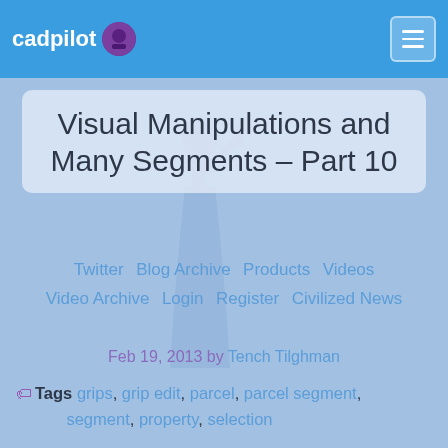cadpilot
Visual Manipulations and Many Segments – Part 10
Twitter  Blog Archive  Products  Videos  Video Archive  Login  Register  Civilized News
Feb 19, 2013 by Tench Tilghman
Tags grips, grip edit, parcel, parcel segment, segment, property, selection
Home | Blog | Visual Manipulations and Many Segments – Part 10